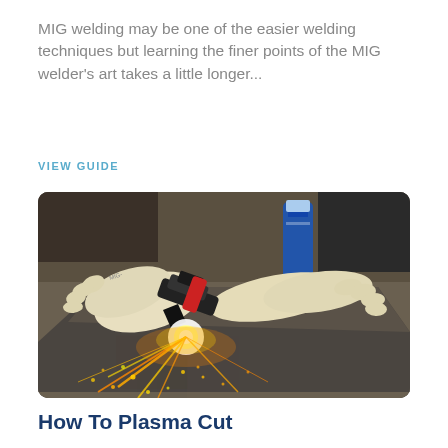MIG welding may be one of the easier welding techniques but learning the finer points of the MIG welder's art takes a little longer...
VIEW GUIDE
[Figure (photo): A person wearing white welding gloves using a MIG/plasma welding torch on a metal sheet, producing bright sparks and light at the contact point. A blue spray can is visible in the background on a workbench.]
How To Plasma Cut